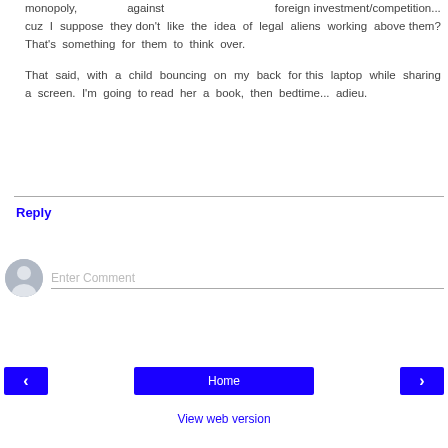monopoly, against foreign investment/competition... cuz I suppose they don't like the idea of legal aliens working above them? That's something for them to think over.

That said, with a child bouncing on my back for this laptop while sharing a screen. I'm going to read her a book, then bedtime... adieu.
Reply
Enter Comment
Home
View web version